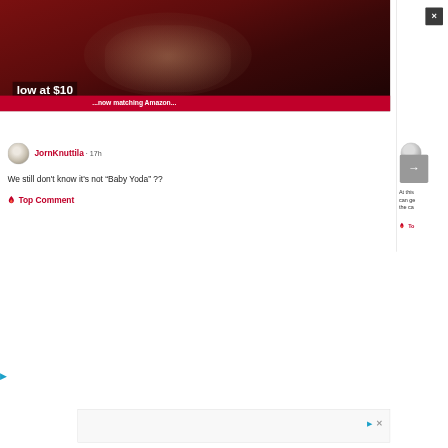[Figure (screenshot): Screenshot of a social media/news comment section. Top portion shows a dark red banner image with text 'low at $10' and a red strip with navigation text. A right panel is partially visible with a close (X) button and an arrow button. A comment by JornKnuttila (17h ago) reads: 'We still don't know it's not "Baby Yoda" ??' marked as Top Comment. Bottom shows a partial advertisement bar.]
low at $10
JornKnuttila · 17h
We still don't know it's not “Baby Yoda” ??
Top Comment
At this can ge the ca
To